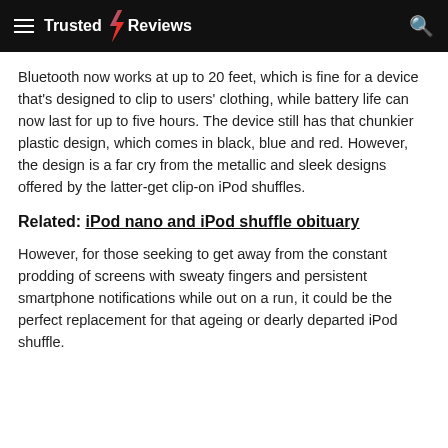Trusted Reviews
Bluetooth now works at up to 20 feet, which is fine for a device that's designed to clip to users' clothing, while battery life can now last for up to five hours. The device still has that chunkier plastic design, which comes in black, blue and red. However, the design is a far cry from the metallic and sleek designs offered by the latter-get clip-on iPod shuffles.
Related: iPod nano and iPod shuffle obituary
However, for those seeking to get away from the constant prodding of screens with sweaty fingers and persistent smartphone notifications while out on a run, it could be the perfect replacement for that ageing or dearly departed iPod shuffle.